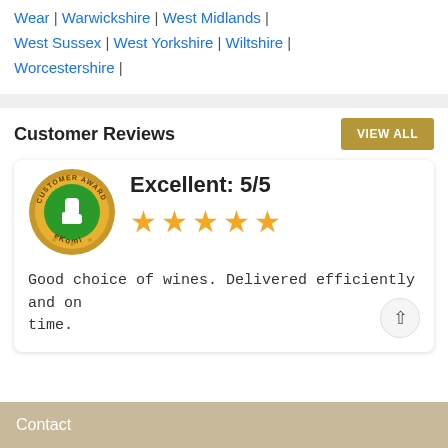Wear | Warwickshire | West Midlands | West Sussex | West Yorkshire | Wiltshire | Worcestershire |
Customer Reviews
[Figure (logo): eKomi Customer Award badge: gold coin with green circle and thumbs up icon, text CUSTOMER AWARD and eKomi]
Excellent: 5/5 ★★★★★
Good choice of wines. Delivered efficiently and on time.
Contact